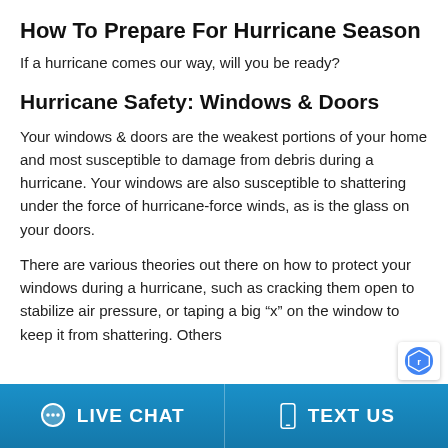How To Prepare For Hurricane Season
If a hurricane comes our way, will you be ready?
Hurricane Safety: Windows & Doors
Your windows & doors are the weakest portions of your home and most susceptible to damage from debris during a hurricane. Your windows are also susceptible to shattering under the force of hurricane-force winds, as is the glass on your doors.
There are various theories out there on how to protect your windows during a hurricane, such as cracking them open to stabilize air pressure, or taping a big “x” on the window to keep it from shattering. Others
LIVE CHAT | TEXT US